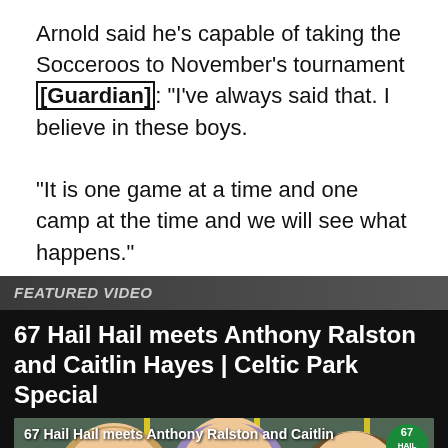Arnold said he’s capable of taking the Socceroos to November’s tournament [Guardian]: “I’ve always said that. I believe in these boys. “It is one game at a time and one camp at the time and we will see what happens.”
FEATURED VIDEO
67 Hail Hail meets Anthony Ralston and Caitlin Hayes | Celtic Park Special
[Figure (photo): Thumbnail of three people (two men and one woman) smiling at Celtic Park stadium. Overlay text reads '67 Hail Hail meets Anthony Ralston and Caitlin' with a green circular badge showing '67' logo.]
[Figure (infographic): BitLife advertisement banner with logo, 'NOW WITH GOD MODE' text in blue button, lightning bolt graphic, hand pointing finger icon, and close/help buttons.]